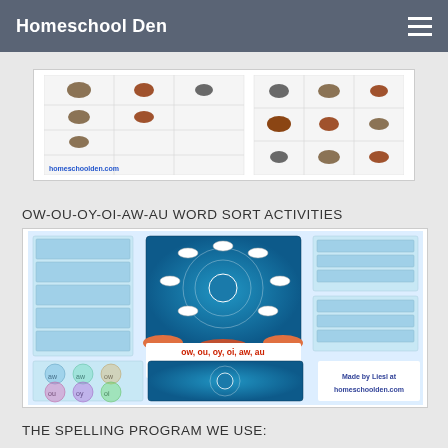Homeschool Den
[Figure (photo): Animal word sort worksheet images showing animals and sorting grid with homeschoolden.com watermark]
OW-OU-OY-OI-AW-AU WORD SORT ACTIVITIES
[Figure (photo): OW OU OY OI AW AU Word Sort Activities packet cover showing multiple ocean-themed word sort game sheets and balloon sorting mats. Made by Liesl at homeschoolden.com]
THE SPELLING PROGRAM WE USE: